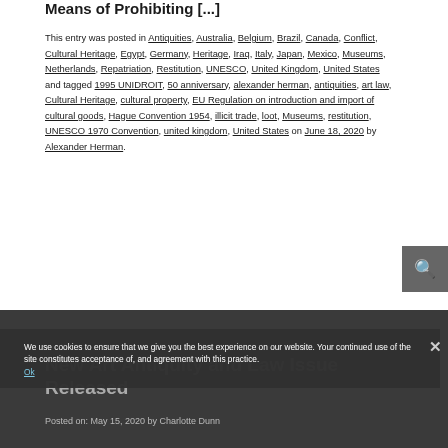Means of Prohibiting [...]
This entry was posted in Antiquities, Australia, Belgium, Brazil, Canada, Conflict, Cultural Heritage, Egypt, Germany, Heritage, Iraq, Italy, Japan, Mexico, Museums, Netherlands, Repatriation, Restitution, UNESCO, United Kingdom, United States and tagged 1995 UNIDROIT, 50 anniversary, alexander herman, antiquities, art law, Cultural Heritage, cultural property, EU Regulation on introduction and import of cultural goods, Hague Convention 1954, illicit trade, loot, Museums, restitution, UNESCO 1970 Convention, united kingdom, United States on June 18, 2020 by Alexander Herman.
We use cookies to ensure that we give you the best experience on our website. Your continued use of the site constitutes acceptance of, and agreement with this practice. Ok
New Art Antiquity and Law Issue Released
Posted on: May 15, 2020 by Charlotte Dunn